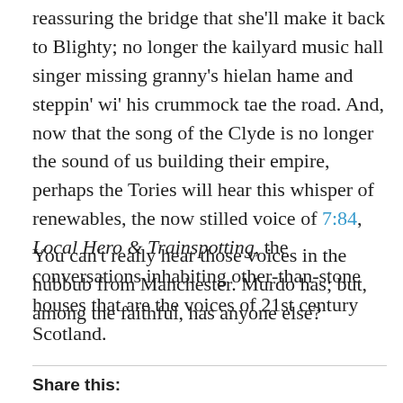reassuring the bridge that she'll make it back to Blighty; no longer the kailyard music hall singer missing granny's hielan hame and steppin' wi' his crummock tae the road. And, now that the song of the Clyde is no longer the sound of us building their empire, perhaps the Tories will hear this whisper of renewables, the now stilled voice of 7:84, Local Hero & Trainspotting, the conversations inhabiting other-than-stone houses that are the voices of 21st century Scotland.
You can't really hear those voices in the hubbub from Manchester. Murdo has; but, among the faithful, has anyone else?
Share this: